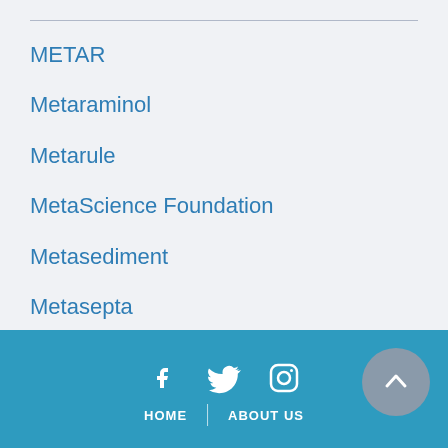METAR
Metaraminol
Metarule
MetaScience Foundation
Metasediment
Metasepta
Metaseptum
Metasilicate
HOME | ABOUT US